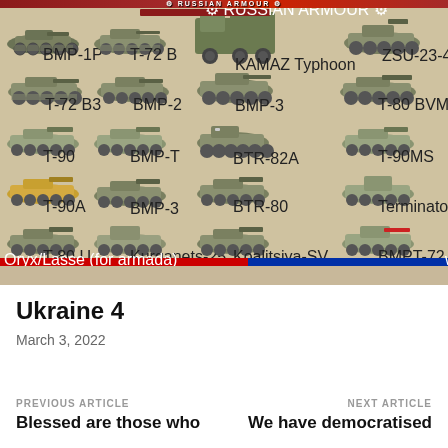[Figure (illustration): Russian Armour reference chart showing multiple military vehicles including tanks, APCs, and artillery pieces arranged in a grid with labels. Title reads 'RUSSIAN ARMOUR' at the top with red and blue border bars.]
Ukraine 4
March 3, 2022
PREVIOUS ARTICLE
Blessed are those who
NEXT ARTICLE
We have democratised